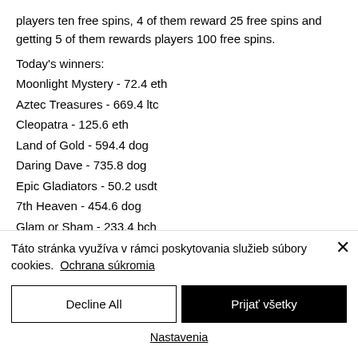players ten free spins, 4 of them reward 25 free spins and getting 5 of them rewards players 100 free spins.
Today's winners:
Moonlight Mystery - 72.4 eth
Aztec Treasures - 669.4 ltc
Cleopatra - 125.6 eth
Land of Gold - 594.4 dog
Daring Dave - 735.8 dog
Epic Gladiators - 50.2 usdt
7th Heaven - 454.6 dog
Glam or Sham - 233.4 bch
Táto stránka využíva v rámci poskytovania služieb súbory cookies. Ochrana súkromia
Decline All
Prijať všetky
Nastavenia